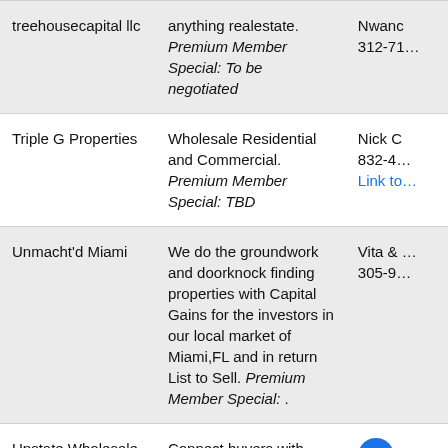| Company | Description | Contact |
| --- | --- | --- |
| treehousecapital llc | anything realestate. Premium Member Special: To be negotiated | Nwanc 312-71… |
| Triple G Properties | Wholesale Residential and Commercial. Premium Member Special: TBD | Nick C 832-4… Link to… |
| Unmacht'd Miami | We do the groundwork and doorknock finding properties with Capital Gains for the investors in our local market of Miami,FL and in return List to Sell. Premium Member Special: . | Vita & … 305-9… |
| Upstate Wholesale Connect | Connect buyers with sellers. Premium Member Special: The best and fastest deal | Jesus 315-92… |
|  | Encontrar propiedades |  |